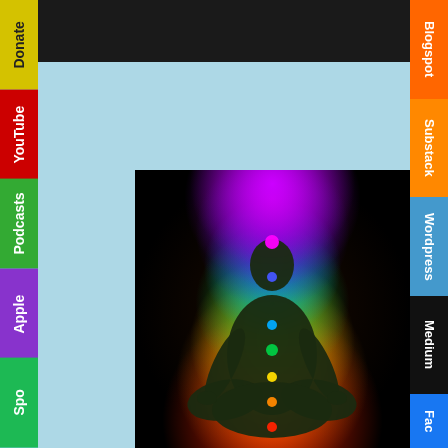[Figure (illustration): Dark navigation bar at top of page]
[Figure (illustration): Light blue background center area]
[Figure (photo): Silhouette of a person in lotus meditation pose with rainbow chakra energy glowing from body on black background]
Donate
YouTube
Podcasts
Apple
Spo(tify)
Blogspot
Substack
Wordpress
Medium
Fac(ebook)